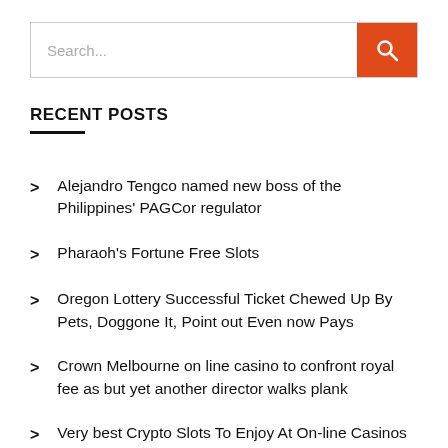[Figure (other): Search bar with text input showing placeholder 'Search...' and an orange button with a white magnifying glass icon]
RECENT POSTS
Alejandro Tengco named new boss of the Philippines' PAGCor regulator
Pharaoh's Fortune Free Slots
Oregon Lottery Successful Ticket Chewed Up By Pets, Doggone It, Point out Even now Pays
Crown Melbourne on line casino to confront royal fee as but yet another director walks plank
Very best Crypto Slots To Enjoy At On-line Casinos